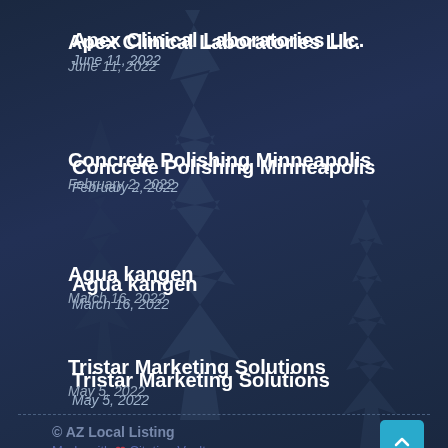Apex Clinical Laboratories Llc.
June 11, 2022
Concrete Polishing Minneapolis
February 2, 2022
Agua kangen
March 16, 2022
Tristar Marketing Solutions
May 5, 2022
© AZ Local Listing
Made with ❤ Citation Vault